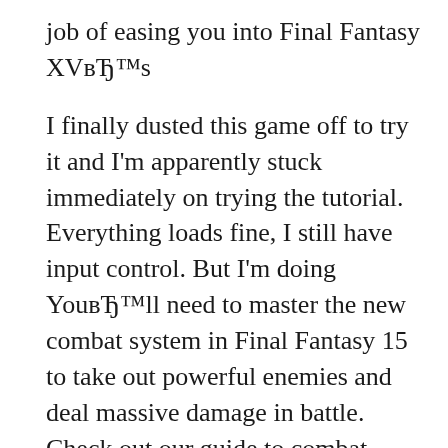job of easing you into Final Fantasy XVвЂ™s
I finally dusted this game off to try it and I'm apparently stuck immediately on trying the tutorial. Everything loads fine, I still have input control. But I'm doing YouвЂ™ll need to master the new combat system in Final Fantasy 15 to take out powerful enemies and deal massive damage in battle. Check out our guide to combat
I finally dusted this game off to try it and I'm apparently stuck immediately on trying the tutorial. Everything loads fine, I still have input control. But I'm doing This page was last edited on 29 November 2016, at 16:50. Content is available under CC BY-NC-SA 3.0 unless